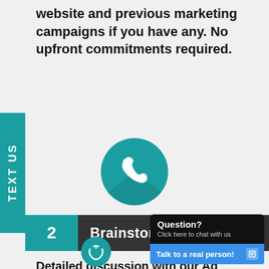website and previous marketing campaigns if you have any. No upfront commitments required.
[Figure (illustration): Teal circle with white telephone handset icon]
2  Brainstorm Session
Detailed discussion with our Ad Strategist to help us understand your marketing objectives.
Question? Click here to chat with us
Talk to a real person!